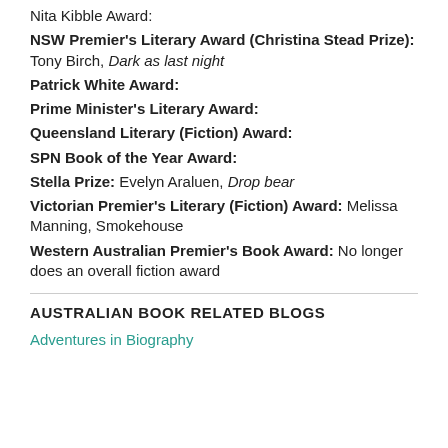Nita Kibble Award:
NSW Premier's Literary Award (Christina Stead Prize): Tony Birch, Dark as last night
Patrick White Award:
Prime Minister's Literary Award:
Queensland Literary (Fiction) Award:
SPN Book of the Year Award:
Stella Prize: Evelyn Araluen, Drop bear
Victorian Premier's Literary (Fiction) Award: Melissa Manning, Smokehouse
Western Australian Premier's Book Award: No longer does an overall fiction award
AUSTRALIAN BOOK RELATED BLOGS
Adventures in Biography